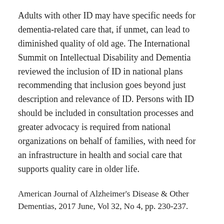Adults with other ID may have specific needs for dementia-related care that, if unmet, can lead to diminished quality of old age. The International Summit on Intellectual Disability and Dementia reviewed the inclusion of ID in national plans recommending that inclusion goes beyond just description and relevance of ID. Persons with ID should be included in consultation processes and greater advocacy is required from national organizations on behalf of families, with need for an infrastructure in health and social care that supports quality care in older life.
American Journal of Alzheimer's Disease & Other Dementias, 2017 June, Vol 32, No 4, pp. 230-237.
Consensus Statement of the International Summit on Intellectual Disability and